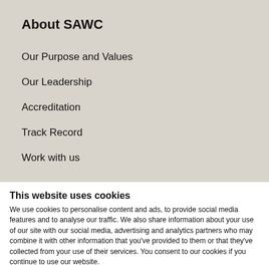About SAWC
Our Purpose and Values
Our Leadership
Accreditation
Track Record
Work with us
This website uses cookies
We use cookies to personalise content and ads, to provide social media features and to analyse our traffic. We also share information about your use of our site with our social media, advertising and analytics partners who may combine it with other information that you've provided to them or that they've collected from your use of their services. You consent to our cookies if you continue to use our website.
Allow all cookies
Show details